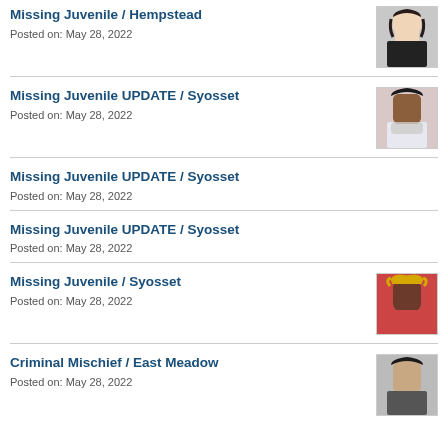Missing Juvenile / Hempstead
Posted on: May 28, 2022
Missing Juvenile UPDATE / Syosset
Posted on: May 28, 2022
Missing Juvenile UPDATE / Syosset
Posted on: May 28, 2022
Missing Juvenile UPDATE / Syosset
Posted on: May 28, 2022
Missing Juvenile / Syosset
Posted on: May 28, 2022
Criminal Mischief / East Meadow
Posted on: May 28, 2022